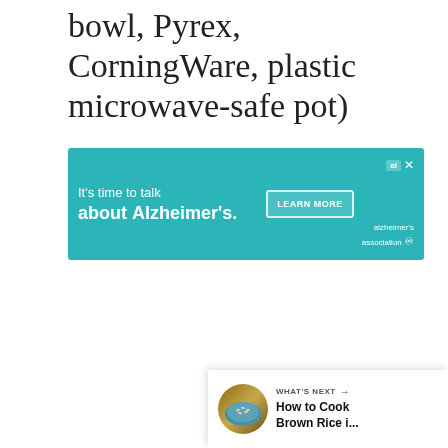bowl, Pyrex, CorningWare, plastic microwave-safe pot)
[Figure (screenshot): Advertisement banner with teal background. Text reads 'It's time to talk about Alzheimer's.' with a 'LEARN MORE' button and the Alzheimer's Association logo.]
[Figure (screenshot): Social sidebar with teal heart/like button showing 3.9K count and a share button below it.]
[Figure (screenshot): What's Next panel showing 'How to Cook Brown Rice i...' with a thumbnail image of rice in a bowl.]